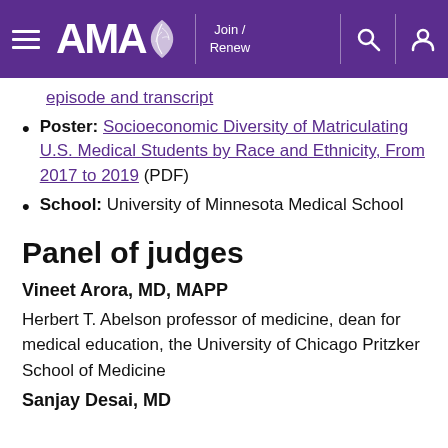AMA — Join / Renew
episode and transcript
Poster: Socioeconomic Diversity of Matriculating U.S. Medical Students by Race and Ethnicity, From 2017 to 2019 (PDF)
School: University of Minnesota Medical School
Panel of judges
Vineet Arora, MD, MAPP
Herbert T. Abelson professor of medicine, dean for medical education, the University of Chicago Pritzker School of Medicine
Sanjay Desai, MD